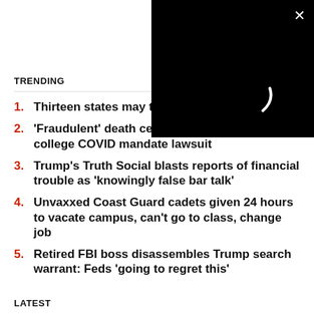[Figure (screenshot): Black video player overlay with white X close button and white loading spinner arc in center]
TRENDING
1. Thirteen states may tax canc...
2. 'Fraudulent' death certificate data at heart of college COVID mandate lawsuit
3. Trump's Truth Social blasts reports of financial trouble as 'knowingly false bar talk'
4. Unvaxxed Coast Guard cadets given 24 hours to vacate campus, can't go to class, change job
5. Retired FBI boss disassembles Trump search warrant: Feds 'going to regret this'
LATEST